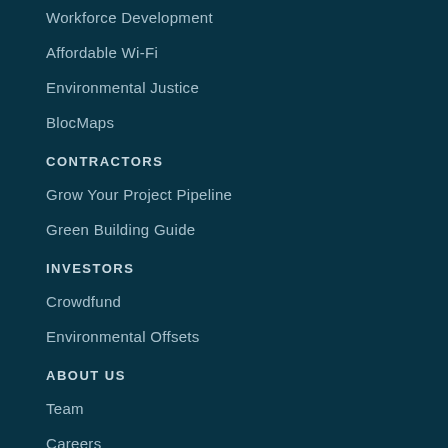Workforce Development
Affordable Wi-Fi
Environmental Justice
BlocMaps
CONTRACTORS
Grow Your Project Pipeline
Green Building Guide
INVESTORS
Crowdfund
Environmental Offsets
ABOUT US
Team
Careers
Press Releases